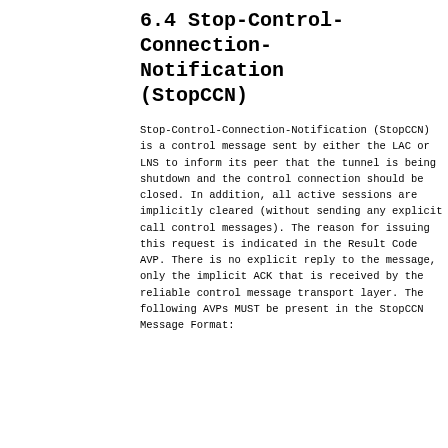6.4 Stop-Control-Connection-Notification (StopCCN)
Stop-Control-Connection-Notification (StopCCN) is a control message sent by either the LAC or LNS to inform its peer that the tunnel is being shutdown and the control connection should be closed. In addition, all active sessions are implicitly cleared (without sending any explicit call control messages). The reason for issuing this request is indicated in the Result Code AVP. There is no explicit reply to the message, only the implicit ACK that is received by the reliable control message transport layer. The following AVPs MUST be present in the StopCCN Message Format: